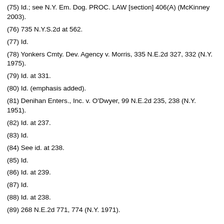(75) Id.; see N.Y. Em. Dog. PROC. LAW [section] 406(A) (McKinney 2003).
(76) 735 N.Y.S.2d at 562.
(77) Id.
(78) Yonkers Cmty. Dev. Agency v. Morris, 335 N.E.2d 327, 332 (N.Y. 1975).
(79) Id. at 331.
(80) Id. (emphasis added).
(81) Denihan Enters., Inc. v. O'Dwyer, 99 N.E.2d 235, 238 (N.Y. 1951).
(82) Id. at 237.
(83) Id.
(84) See id. at 238.
(85) Id.
(86) Id. at 239.
(87) Id.
(88) Id. at 238.
(89) 268 N.E.2d 771, 774 (N.Y. 1971).